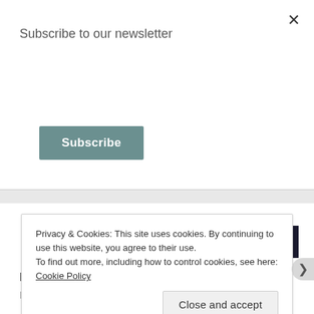Subscribe to our newsletter
Subscribe
Advertisements
[Figure (screenshot): Dark advertisement banner with a circular white icon showing an inverted triangle and teal text reading 'Launch your online']
Mya Murphy says:
March 24, 2019 at 11:04 pm
Privacy & Cookies: This site uses cookies. By continuing to use this website, you agree to their use.
To find out more, including how to control cookies, see here: Cookie Policy
Close and accept